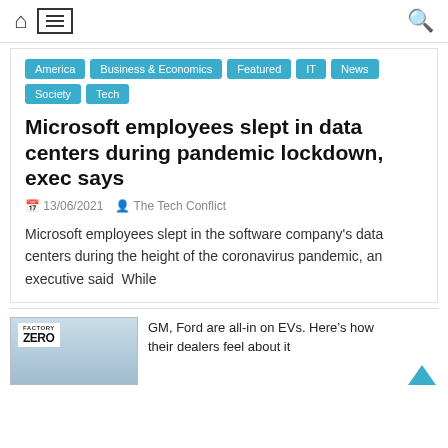Home | Menu | Search
America
Business & Economics
Featured
IT
News
Society
Tech
Microsoft employees slept in data centers during pandemic lockdown, exec says
13/06/2021   The Tech Conflict
Microsoft employees slept in the software company's data centers during the height of the coronavirus pandemic, an executive said  While
[Figure (photo): Factory Zero sign/logo thumbnail image]
GM, Ford are all-in on EVs. Here's how their dealers feel about it